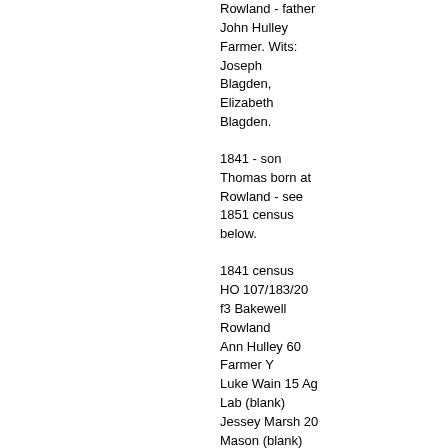Rowland - father John Hulley Farmer. Wits: Joseph Blagden, Elizabeth Blagden.
1841 - son Thomas born at Rowland - see 1851 census below.
1841 census HO 107/183/20 f3 Bakewell Rowland Ann Hulley 60 Farmer Y Luke Wain 15 Ag Lab (blank) Jessey Marsh 20 Mason (blank) Elizabeth Marsh 20 (blank) Thos. Marsh 2mos (blank) John Brightmore 20 Shoe M. (blank)